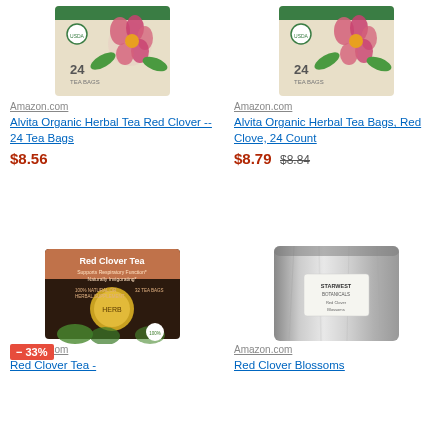[Figure (photo): Alvita Organic Herbal Tea Red Clover box - top left product image]
[Figure (photo): Alvita Organic Herbal Tea Red Clover Bags box - top right product image]
Amazon.com
Alvita Organic Herbal Tea Red Clover -- 24 Tea Bags
$8.56
Amazon.com
Alvita Organic Herbal Tea Bags, Red Clove, 24 Count
$8.79 $8.84
[Figure (photo): Red Clover Tea box with -33% discount badge - bottom left product image]
[Figure (photo): Red Clover Blossoms silver foil bag - bottom right product image]
Amazon.com
Red Clover Tea -
Amazon.com
Red Clover Blossoms